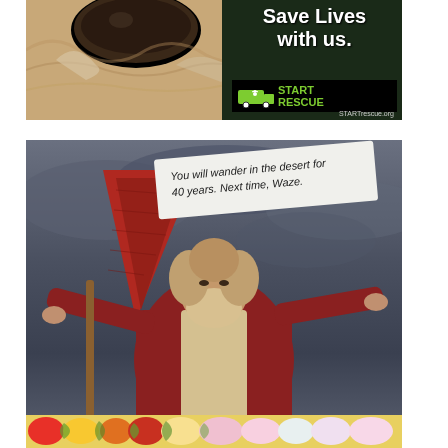[Figure (photo): START RESCUE advertisement showing a close-up of a dog's face with text 'Save Lives with us.' and the START Rescue logo with STARTrescue.org URL]
[Figure (photo): Meme image showing a fortune cookie slip reading 'You will wander in the desert for 40 years. Next time, Waze.' with a biblical figure (Moses-like) holding a red triangular fortune cookie, overlaid with a WhatsApp chat widget saying 'Need help? Click here.' and an advertisement for 'THE PASSOVER DOZEN' at fortunesla.com]
[Figure (photo): Partial view of a flower arrangement advertisement at the bottom of the page]